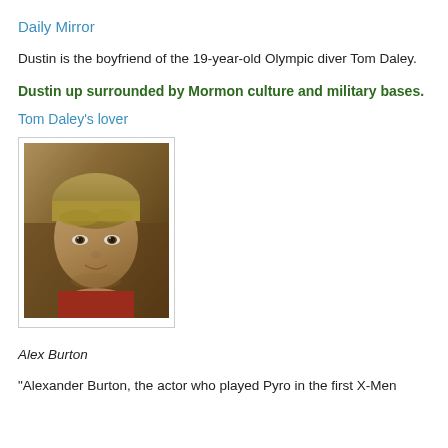Daily Mirror
Dustin is the boyfriend of the 19-year-old Olympic diver Tom Daley.
Dustin up surrounded by Mormon culture and military bases.
Tom Daley’s lover
[Figure (photo): Photo of Alex Burton, a young blonde male actor looking directly at the camera, framed in a thin bordered box]
Alex Burton
"Alexander Burton, the actor who played Pyro in the first X-Men